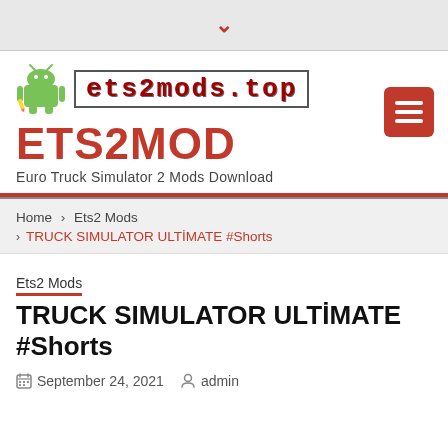▾
[Figure (logo): ETS2MODS.TOP logo with Android mascot icon and stylized red pixel-font text 'ets2mods.top']
ETS2MOD
Euro Truck Simulator 2 Mods Download
Home › Ets2 Mods › TRUCK SIMULATOR ULTİMATE #Shorts
Ets2 Mods
TRUCK SIMULATOR ULTİMATE #Shorts
September 24, 2021  admin